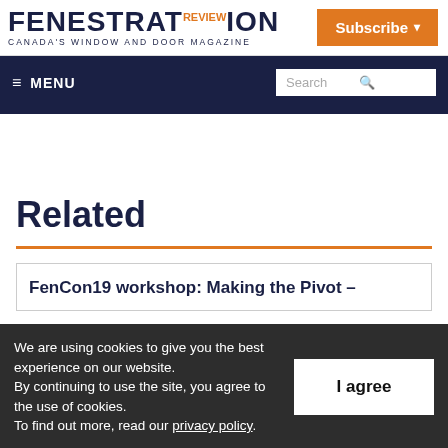[Figure (logo): Fenestration Review logo — Canada's Window and Door Magazine]
Subscribe ▾
≡ MENU  Search 🔍
Related
FenCon19 workshop: Making the Pivot –
We are using cookies to give you the best experience on our website.
By continuing to use the site, you agree to the use of cookies.
To find out more, read our privacy policy.